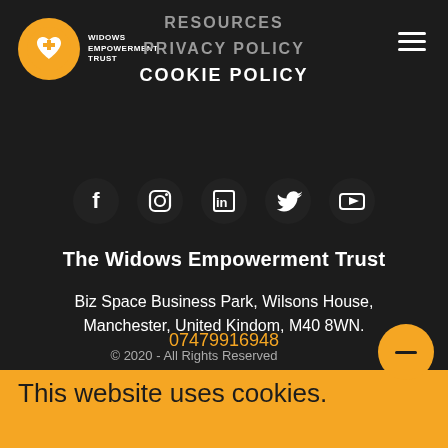[Figure (logo): Widows Empowerment Trust logo: orange circle with heart and cross icon, followed by text 'WIDOWS EMPOWERMENT TRUST']
RESOURCES
PRIVACY POLICY
COOKIE POLICY
[Figure (infographic): Row of 5 social media icons (Facebook, Instagram, LinkedIn, Twitter, YouTube) as white icons on dark circular backgrounds]
The Widows Empowerment Trust
Biz Space Business Park, Wilsons House, Manchester, United Kindom, M40 8WN.
07479916948
© 2020 - All Rights Reserved
This website uses cookies.